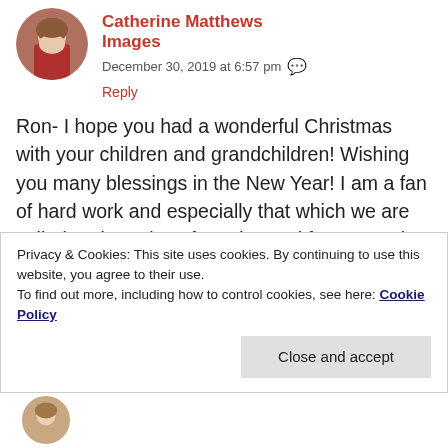[Figure (photo): Circular avatar photo of a woman with short hair wearing a red turtleneck]
Catherine Matthews Images
December 30, 2019 at 6:57 pm
Reply
Ron- I hope you had a wonderful Christmas with your children and grandchildren! Wishing you many blessings in the New Year! I am a fan of hard work and especially that which we are called to do. A day of rest is good for our souls as well- especially when we spend it with loved ones. Thanks for reading my blog!
Privacy & Cookies: This site uses cookies. By continuing to use this website, you agree to their use.
To find out more, including how to control cookies, see here: Cookie Policy
Close and accept
[Figure (photo): Partial circular avatar photo at the bottom of the page]